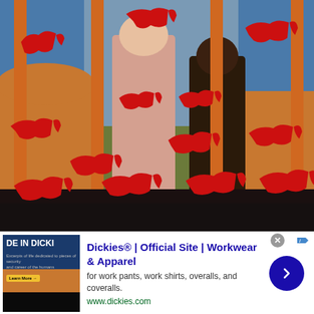[Figure (illustration): A painting showing figures (people) with many red animal/dog-like silhouettes overlaid across the image. The background includes blue water, orange/brown rocky terrain, and orange vertical posts. The red animals appear stylized, almost like cave paintings or graffiti overlaid on the original artwork.]
[Figure (screenshot): An advertisement banner for Dickies workwear. Contains a book/product image on the left with dark blue and yellow-brown coloring, text 'DE IN DICKI', and small subtext. Main ad area shows title 'Dickies® | Official Site | Workwear & Apparel', description 'for work pants, work shirts, overalls, and coveralls.', URL 'www.dickies.com', and a blue circular arrow button on the right. A grey close (X) button and info icon appear at top right of the ad.]